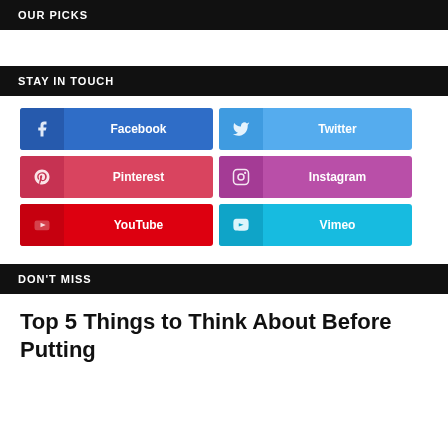OUR PICKS
STAY IN TOUCH
[Figure (infographic): Social media buttons grid: Facebook, Twitter, Pinterest, Instagram, YouTube, Vimeo]
DON'T MISS
Top 5 Things to Think About Before Putting